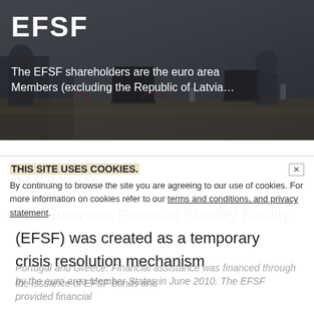[Figure (photo): Hero banner showing a meeting room with people seated at tables with laptops and equipment, dark overlay applied. EFSF logo text and subtitle overlaid on image.]
EFSF
The EFSF shareholders are the euro area Members (excluding the Republic of Latvia…
Overview
The European Financial Stability Facility (EFSF) was created as a temporary crisis resolution mechanism
by the euro area Member States in June 2010. The EFSF provided financial assistance to Ireland, Portugal and Greece. Financial assistance was financed through the issuance of EFSF bonds and
THIS SITE USES COOKIES.
By continuing to browse the site you are agreeing to our use of cookies. For more information on cookies refer to our terms and conditions, and privacy statement.